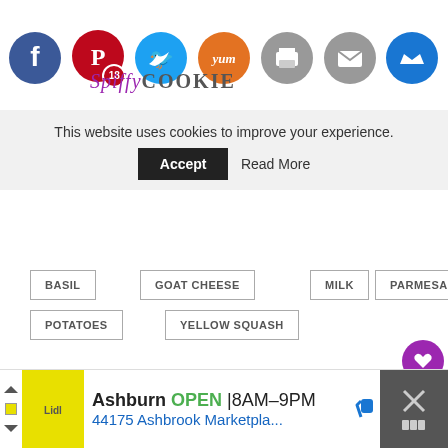[Figure (screenshot): Header row of social share icons: Facebook (blue), Pinterest (red with 18), Twitter (blue), Yummly (orange), Print (gray), Email (gray), Crown (blue). Below them is the Spiffycookie logo.]
This website uses cookies to improve your experience.
Accept   Read More
BASIL
GOAT CHEESE
MILK
PARMESAN
POTATOES
YELLOW SQUASH
20 comments
ERIN
[Figure (screenshot): Ad banner: Ashburn OPEN 8AM-9PM 44175 Ashbrook Marketpla...]